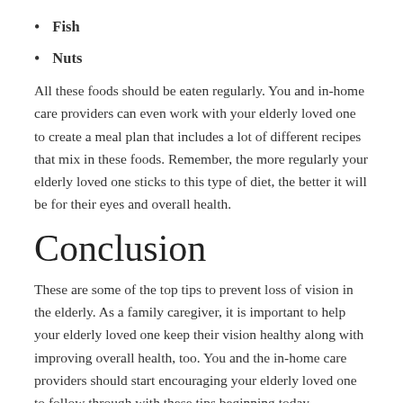Fish
Nuts
All these foods should be eaten regularly. You and in-home care providers can even work with your elderly loved one to create a meal plan that includes a lot of different recipes that mix in these foods. Remember, the more regularly your elderly loved one sticks to this type of diet, the better it will be for their eyes and overall health.
Conclusion
These are some of the top tips to prevent loss of vision in the elderly. As a family caregiver, it is important to help your elderly loved one keep their vision healthy along with improving overall health, too. You and the in-home care providers should start encouraging your elderly loved one to follow through with these tips beginning today.
If you are in-home care providers with it to Home C...